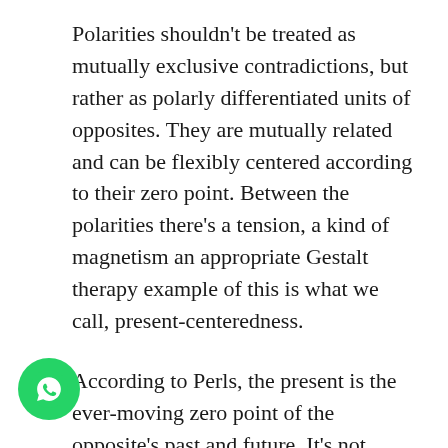Polarities shouldn't be treated as mutually exclusive contradictions, but rather as polarly differentiated units of opposites. They are mutually related and can be flexibly centered according to their zero point. Between the polarities there's a tension, a kind of magnetism an appropriate Gestalt therapy example of this is what we call, present-centeredness.
According to Perls, the present is the ever-moving zero point of the opposite's past and future. It's not static, or absolute, but a constant plane with relativity, a balancing, a back-and-forth of meaning-making.